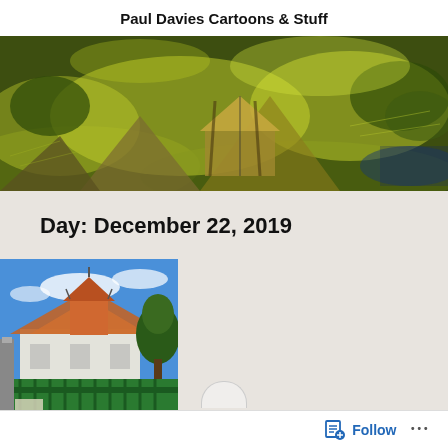Paul Davies Cartoons & Stuff
[Figure (photo): Wide banner photograph with painterly/illustrated green and yellow landscape, featuring rocky terrain and what appears to be a tent or structure]
Day: December 22, 2019
[Figure (photo): Thumbnail photo of a white art nouveau style building with orange/terracotta roof, green ornate iron gate in the foreground, blue sky background]
Follow ...